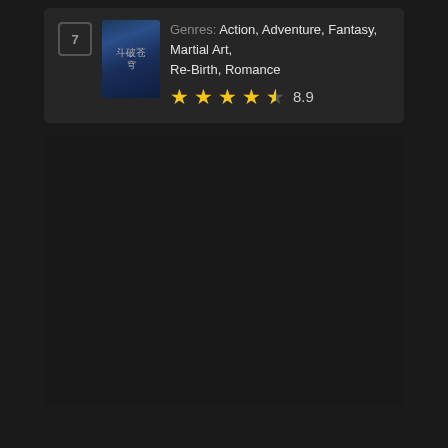[Figure (screenshot): A web/app card showing a manga/novel entry with a cover image, genre tags (Action, Adventure, Fantasy, Martial Art, Re-Birth, Romance), and a star rating of 8.9 out of 10.]
Genres: Action, Adventure, Fantasy, Martial Art, Re-Birth, Romance
8.9